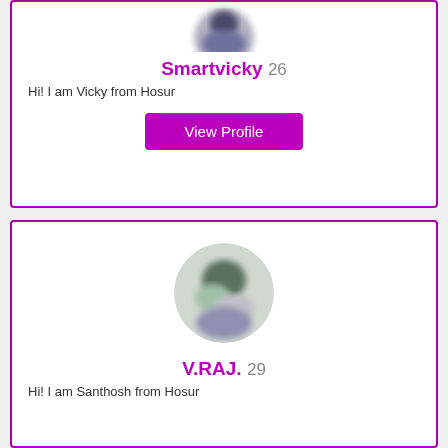[Figure (photo): Circular blurred profile photo of Smartvicky, partially cropped at top]
Smartvicky 26
Hi! I am Vicky from Hosur
View Profile
[Figure (photo): Circular blurred profile photo of V.RAJ.]
V.RAJ. 29
Hi! I am Santhosh from Hosur